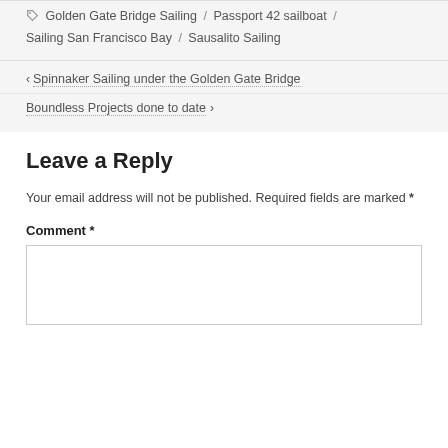🏷 Golden Gate Bridge Sailing / Passport 42 sailboat / Sailing San Francisco Bay / Sausalito Sailing
‹ Spinnaker Sailing under the Golden Gate Bridge
Boundless Projects done to date ›
Leave a Reply
Your email address will not be published. Required fields are marked *
Comment *
[Figure (other): Empty comment textarea input box]